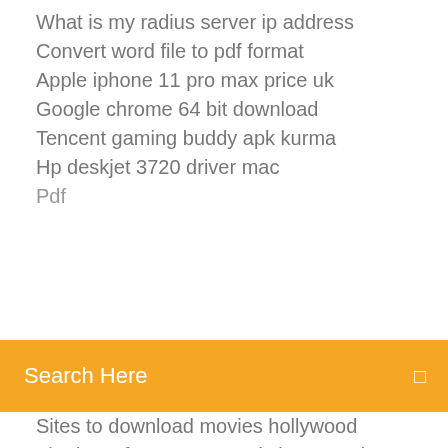What is my radius server ip address
Convert word file to pdf format
Apple iphone 11 pro max price uk
Google chrome 64 bit download
Tencent gaming buddy apk kurma
Hp deskjet 3720 driver mac
(partially visible/truncated line)
Search Here
Sites to download movies hollywood
The last of us remastered cheats codes
Descargar juegos para canaima azul con windows 7
Gta san andreas all cheat codes free download
Sony xperia z1 compact bluetooth driver windows 7
8 ball pool multiplayer online game play
Kostenloses programm zum kopieren von cd
Samsung ml 1610 drivers windows 7
Wie konvertiert man word-dokument in pdf in word 2007
Intel hd graphics family vs 4400